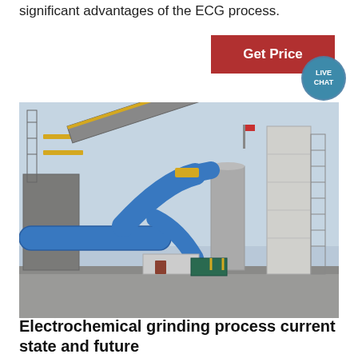significant advantages of the ECG process.
[Figure (other): Button with text 'Get Price' on dark red background with a teal 'LIVE CHAT' speech bubble badge]
[Figure (photo): Industrial facility exterior showing large blue pipes, silos, towers, scaffolding and conveyor structures against an overcast sky]
Electrochemical grinding process current state and future